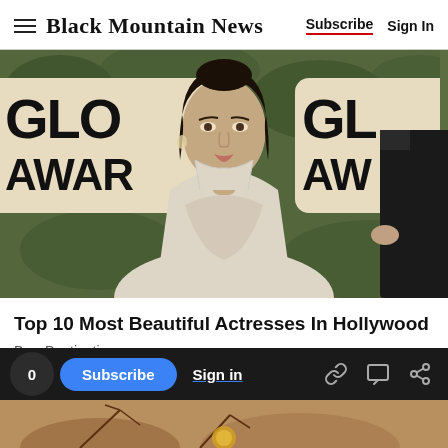Black Mountain News | Subscribe | Sign In
[Figure (photo): Woman in white dress at Golden Globe Awards red carpet, with Golden Globe Awards signs visible in background and a dark-suited figure partially visible on the right.]
Top 10 Most Beautiful Actresses In Hollywood
BuzzDestination
0 | Subscribe | Sign in